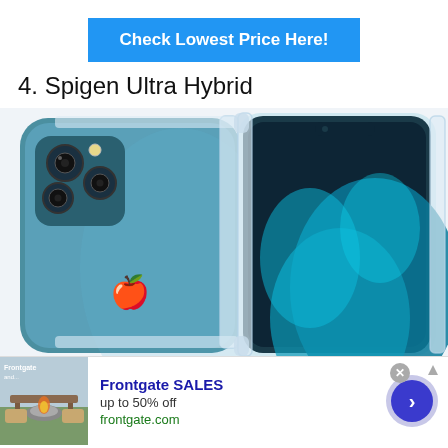[Figure (other): Blue button with white bold text reading 'Check Lowest Price Here!']
4. Spigen Ultra Hybrid
[Figure (photo): Photo showing an iPhone 12 Pro in Pacific Blue color with a Spigen Ultra Hybrid clear case — back view on left, front screen view on right, case partially assembled around the phone.]
[Figure (other): Advertisement bar for Frontgate SALES: thumbnail photo of outdoor furniture with fire pit, bold blue text 'Frontgate SALES', 'up to 50% off', green text 'frontgate.com', close X button, arrow navigation button.]